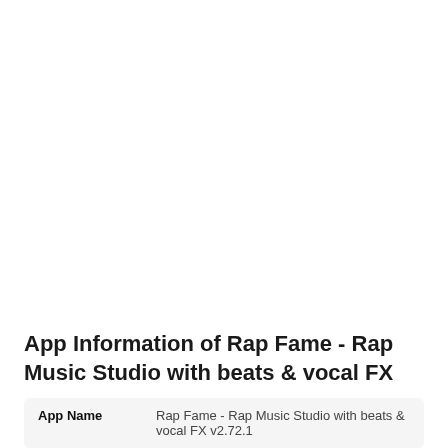App Information of Rap Fame - Rap Music Studio with beats & vocal FX
| App Name |  |
| --- | --- |
| App Name | Rap Fame - Rap Music Studio with beats & vocal FX v2.72.1 |